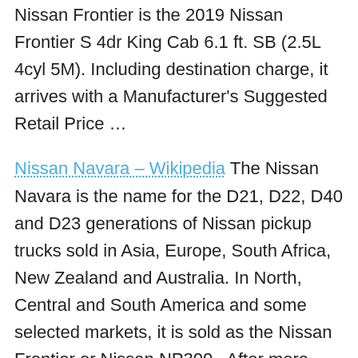Nissan Frontier is the 2019 Nissan Frontier S 4dr King Cab 6.1 ft. SB (2.5L 4cyl 5M). Including destination charge, it arrives with a Manufacturer's Suggested Retail Price …
Nissan Navara – Wikipedia The Nissan Navara is the name for the D21, D22, D40 and D23 generations of Nissan pickup trucks sold in Asia, Europe, South Africa, New Zealand and Australia. In North, Central and South America and some selected markets, it is sold as the Nissan Frontier or Nissan NP300.. After more than 10 years with the D21, Nissan unveiled the similar sized D22. It was replaced with the bigger, taller …
2020 Nissan Frontier Review, Pricing, and Specs Overview The 2020 Nissan Frontier is a